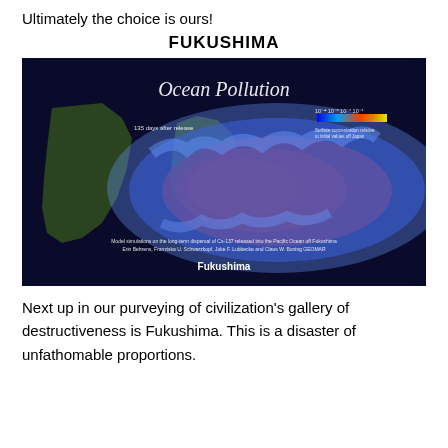Ultimately the choice is ours!
FUKUSHIMA
[Figure (map): Ocean Pollution map showing model simulations of Cs-137 dispersal released into the Pacific Ocean off Fukushima, 135 days after release. Color gradient from yellow (highest) through orange and red to blue (lowest concentration). Caption inside image: 'Model simulations on the long-term dispersal of Cs-137 released into the Pacific Ocean off Fukushima. Erin Behrens, Franziska U. Schwarzkopf, Joke F. Lubbecke and Claus W. Boning. GEOMAR. Fukushima.']
Next up in our purveying of civilization's gallery of destructiveness is Fukushima.  This is a disaster of unfathomable proportions.